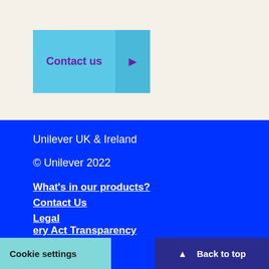[Figure (other): Contact us button with light blue background and purple text, with a dark blue arrow button on the right]
Unilever UK & Ireland
© Unilever 2022
What's in our products?
Contact Us
Legal
Accessibility
Cookie Notice
Privacy Notice
ery Act Transparency
Cookie settings | Back to top